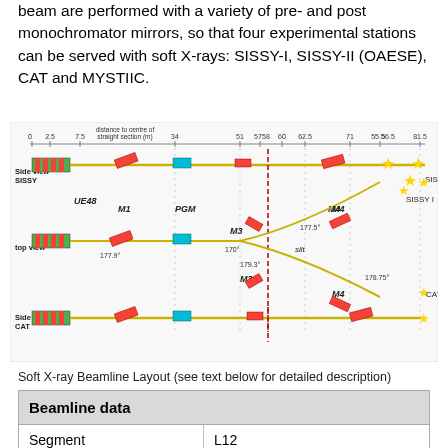beam are performed with a variety of pre- and post monochromator mirrors, so that four experimental stations can be served with soft X-rays: SISSY-I, SISSY-II (OAESE), CAT and MYSTIIC.
[Figure (schematic): Soft X-ray beamline layout diagram showing side view SISSY, top view, and side view CAT with optical elements UE48, M1, PGM, M3, M4, slit positions, and four experimental stations (SISSY II, SISSY I, CAT) marked with star symbols. Distance scale shown at top from 0 to 81.5 m.]
Soft X-ray Beamline Layout (see text below for detailed description)
| Beamline data |  |
| --- | --- |
| Segment | L12 |
| Location (Pillar) | 13.2 |